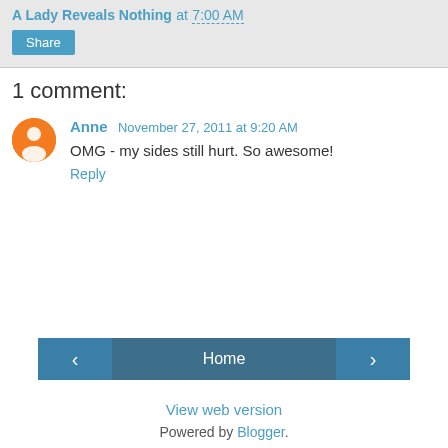A Lady Reveals Nothing at 7:00 AM
Share
1 comment:
Anne  November 27, 2011 at 9:20 AM
OMG - my sides still hurt. So awesome!
Reply
Home  View web version  Powered by Blogger.